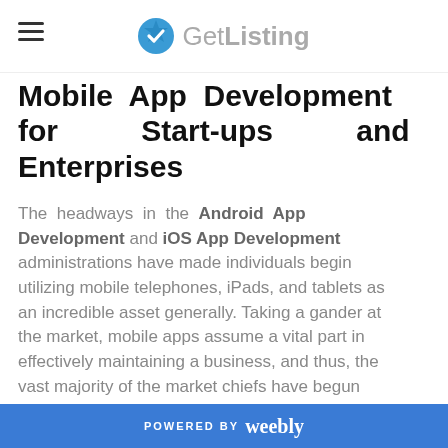GetListing
Mobile App Development for Start-ups and Enterprises
The headways in the Android App Development and iOS App Development administrations have made individuals begin utilizing mobile telephones, iPads, and tablets as an incredible asset generally. Taking a gander at the market, mobile apps assume a vital part in effectively maintaining a business, and thus, the vast majority of the market chiefs have begun employing mobile app development companies
POWERED BY weebly